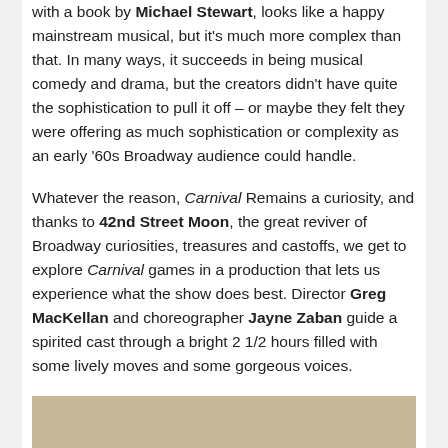with a book by Michael Stewart, looks like a happy mainstream musical, but it's much more complex than that. In many ways, it succeeds in being musical comedy and drama, but the creators didn't have quite the sophistication to pull it off – or maybe they felt they were offering as much sophistication or complexity as an early '60s Broadway audience could handle.
Whatever the reason, Carnival Remains a curiosity, and thanks to 42nd Street Moon, the great reviver of Broadway curiosities, treasures and castoffs, we get to explore Carnival games in a production that lets us experience what the show does best. Director Greg MacKellan and choreographer Jayne Zaban guide a spirited cast through a bright 2 1/2 hours filled with some lively moves and some gorgeous voices.
[Figure (photo): Three performers in a theatrical production photo against a tan/beige background. On the left a person with red hair, in the center a person with dark hair facing down, and on the right a man with dark slicked hair wearing a blue outfit.]